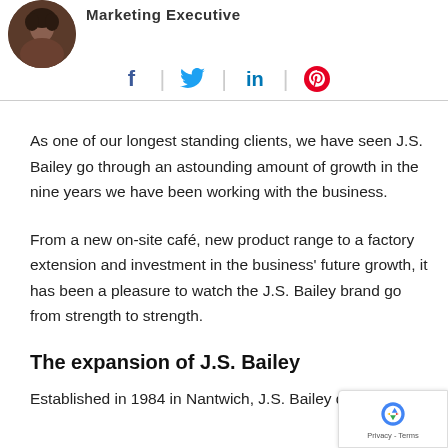[Figure (photo): Circular avatar photo of a person, partially visible at top-left]
Marketing Executive
[Figure (infographic): Social media icons: Facebook (f), Twitter (bird), LinkedIn (in), Pinterest (p) separated by vertical lines]
As one of our longest standing clients, we have seen J.S. Bailey go through an astounding amount of growth in the nine years we have been working with the business.
From a new on-site café, new product range to a factory extension and investment in the business' future growth, it has been a pleasure to watch the J.S. Bailey brand go from strength to strength.
The expansion of J.S. Bailey
Established in 1984 in Nantwich, J.S. Bailey qu…